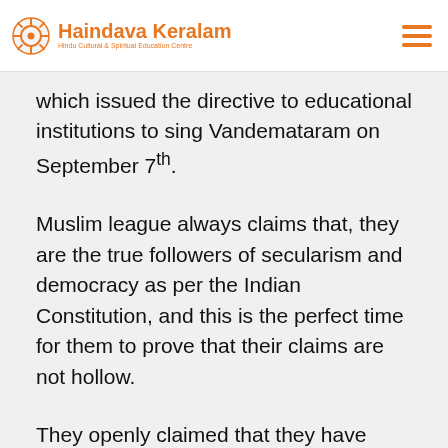Haindava Keralam
which issued the directive to educational institutions to sing Vandemataram on September 7th.
Muslim league always claims that, they are the true followers of secularism and democracy as per the Indian Constitution, and this is the perfect time for them to prove that their claims are not hollow.
They openly claimed that they have nothing to do with the Muslim League of Jinnah which stood for Pakistan,When Jinnah’s Muslim